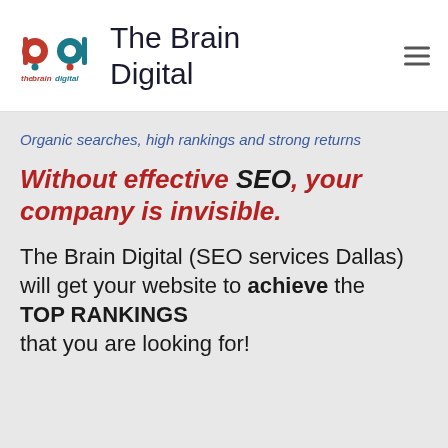[Figure (logo): The Brain Digital logo with stylized 'bd' icon in red and teal, and text 'the brain digital' below]
The Brain Digital
Organic searches, high rankings and strong returns
Without effective SEO, your company is invisible.
The Brain Digital (SEO services Dallas) will get your website to achieve the TOP RANKINGS that you are looking for!